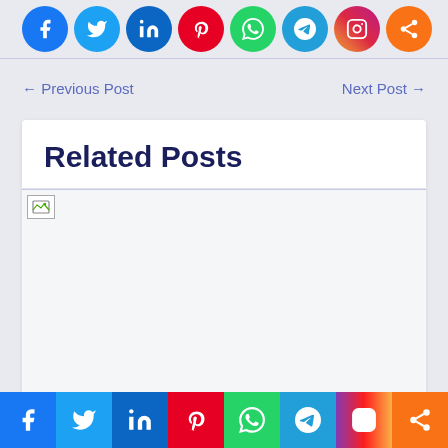[Figure (other): Row of circular social media share icons: Facebook, Twitter, LinkedIn, Pinterest, WhatsApp, Telegram, Instagram, Share]
← Previous Post
Next Post →
Related Posts
[Figure (other): Broken/loading image placeholder in related posts section]
[Figure (other): Bottom social media share bar: Facebook, Twitter, LinkedIn, Pinterest, WhatsApp, Telegram, Instagram, Share]